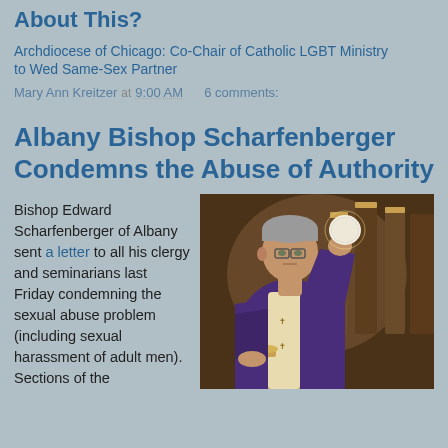What Will Lay World Elites Expect Us to Do About This?
Archdiocese of Chicago: Co-Chair of Catholic LGBT Ministry to Wed Same-Sex Partner
Mary Ann Kreitzer at 9:00 AM   6 comments:
Albany Bishop Scharfenberger Condemns the Abuse of Authority
Bishop Edward Scharfenberger of Albany sent a letter to all his clergy and seminarians last Friday condemning the sexual abuse problem (including sexual harassment of adult men). Sections of the
[Figure (photo): A Catholic bishop or priest in purple vestments holding up the Eucharist (communion host) during Mass, in a church setting with ornate wooden fixtures in the background.]